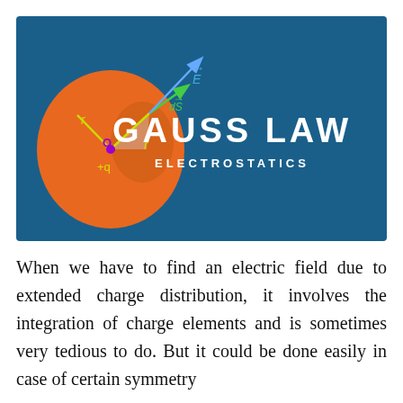[Figure (illustration): Dark blue banner showing a diagram of a sphere (orange) with center O marked with +q charge, radius vectors r labeled in yellow-green, a surface element dS vector in green, and electric field vector E in blue pointing outward. Text 'GAUSS LAW' in large white bold letters and 'ELECTROSTATICS' in white below it on the right side.]
When we have to find an electric field due to extended charge distribution, it involves the integration of charge elements and is sometimes very tedious to do. But it could be done easily in case of certain symmetry